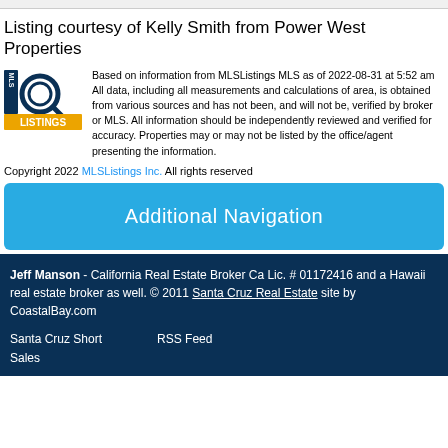Listing courtesy of Kelly Smith from Power West Properties
Based on information from MLSListings MLS as of 2022-08-31 at 5:52 am All data, including all measurements and calculations of area, is obtained from various sources and has not been, and will not be, verified by broker or MLS. All information should be independently reviewed and verified for accuracy. Properties may or may not be listed by the office/agent presenting the information.
Copyright 2022 MLSListings Inc. All rights reserved
Additional Navigation
Jeff Manson - California Real Estate Broker Ca Lic. # 01172416 and a Hawaii real estate broker as well. © 2011 Santa Cruz Real Estate site by CoastalBay.com
Santa Cruz Short Sales
RSS Feed